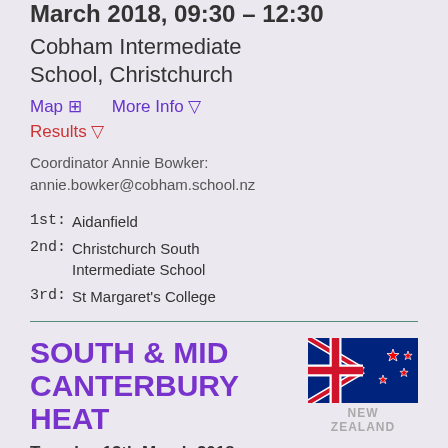March 2018, 09:30 – 12:30
Cobham Intermediate School, Christchurch
Map  More Info  Results
Coordinator Annie Bowker: annie.bowker@cobham.school.nz
1st:  Aidanfield
2nd:  Christchurch South Intermediate School
3rd:  St Margaret's College
SOUTH & MID CANTERBURY HEAT
[Figure (illustration): New Zealand flag with Union Jack and Southern Cross stars on blue background, with text NEW ZEALAND below]
Tuesday 13th March 2018, 10:00 – 13:00
Waihi Preparatory School,